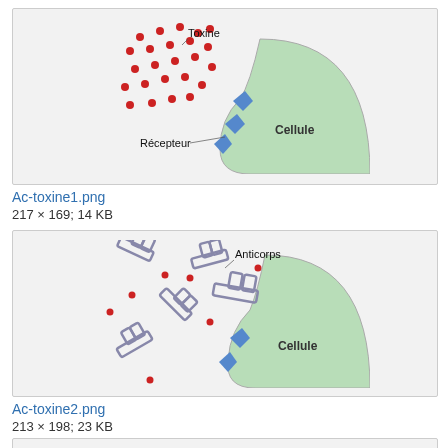[Figure (illustration): Diagram showing toxin molecules (red dots) floating near a cell (green rounded shape) with blue receptors on its surface. Labels: 'Toxine' pointing to red dots, 'Récepteur' pointing to blue receptors, 'Cellule' labeling the green cell body.]
Ac-toxine1.png
217 × 169; 14 KB
[Figure (illustration): Diagram showing antibody molecules (Y-shaped grey structures) bound to toxin molecules (small red dots), with a cell (green rounded shape) and blue receptors visible. Labels: 'Anticorps' pointing to antibody structures, 'Cellule' labeling the green cell body.]
Ac-toxine2.png
213 × 198; 23 KB